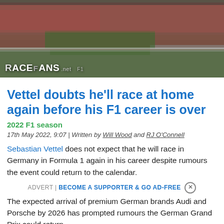[Figure (photo): Aerial/elevated view of a Formula 1 race circuit with large crowds of spectators dressed in red and other colors along the track and grandstand areas. Racefans.net logo visible at bottom left.]
Vettel doubts he'll race at home again before his F1 career is over
2022 F1 season
17th May 2022, 9:07 | Written by Will Wood and RJ O'Connell
Sebastian Vettel does not expect that he will race in Germany in Formula 1 again in his career despite rumours the event could return to the calendar.
ADVERT | BECOME A SUPPORTER & GO AD-FREE
The expected arrival of premium German brands Audi and Porsche by 2026 has prompted rumours the German Grand Prix could return.